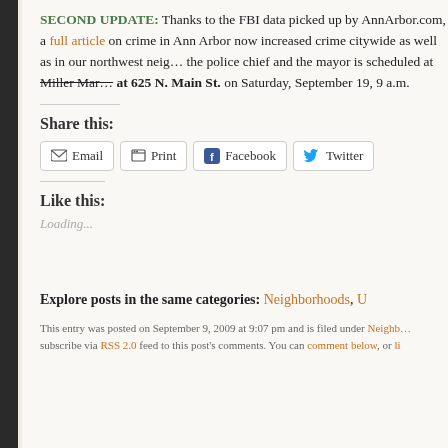SECOND UPDATE: Thanks to the FBI data picked up by AnnArbor.com, a full article on crime in Ann Arbor now increased crime citywide as well as in our northwest neighborhood. A meeting with the police chief and the mayor is scheduled at Miller Manor at 625 N. Main St. on Saturday, September 19, 9 a.m.
Share this:
Email | Print | Facebook | Twitter
Like this:
Loading...
Explore posts in the same categories: Neighborhoods,
This entry was posted on September 9, 2009 at 9:07 pm and is filed under Neighborhoods. subscribe via RSS 2.0 feed to this post's comments. You can comment below, or li